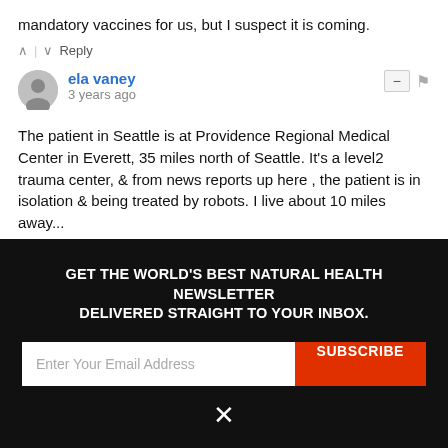mandatory vaccines for us, but I suspect it is coming.
^ | v Reply
ela vaney
3 years ago
The patient in Seattle is at Providence Regional Medical Center in Everett, 35 miles north of Seattle. It's a level2 trauma center, & from news reports up here , the patient is in isolation & being treated by robots. I live about 10 miles away...
1 ^ | v Reply
ALM
GET THE WORLD'S BEST NATURAL HEALTH NEWSLETTER DELIVERED STRAIGHT TO YOUR INBOX.
Enter Your Email Address
SUBSCRIBE
×